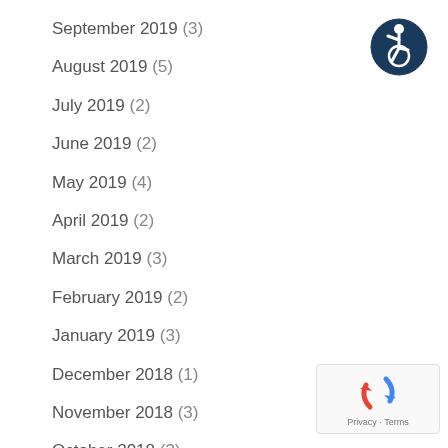September 2019 (3)
August 2019 (5)
July 2019 (2)
June 2019 (2)
May 2019 (4)
April 2019 (2)
March 2019 (3)
February 2019 (2)
January 2019 (3)
December 2018 (1)
November 2018 (3)
October 2018 (3)
September 2018 (4)
August 2018 (4)
[Figure (logo): Accessibility icon — dark blue circle with white wheelchair user symbol]
[Figure (other): reCAPTCHA badge with Privacy and Terms links]